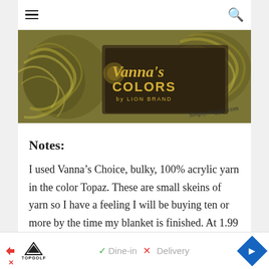☰  🔍
[Figure (photo): Close-up photo of olive/yellow-green yarn skeins with a label reading "Vanna's Colors by Lion Brand" and handwritten text "Simplymaggie.com"]
Notes:
I used Vanna's Choice, bulky, 100% acrylic yarn in the color Topaz. These are small skeins of yarn so I have a feeling I will be buying ten or more by the time my blanket is finished. At 1.99 each that's not too bad!
[Figure (screenshot): Advertisement bar showing Topgolf logo, Dine-in with checkmark, Delivery with X, and navigation arrow diamond button]